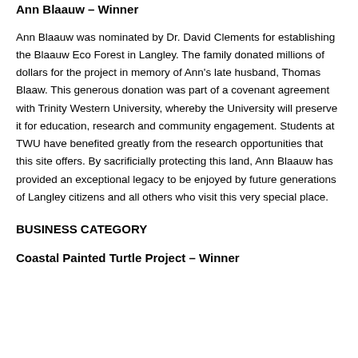Ann Blaauw – Winner
Ann Blaauw was nominated by Dr. David Clements for establishing the Blaauw Eco Forest in Langley. The family donated millions of dollars for the project in memory of Ann's late husband, Thomas Blaaw. This generous donation was part of a covenant agreement with Trinity Western University, whereby the University will preserve it for education, research and community engagement. Students at TWU have benefited greatly from the research opportunities that this site offers. By sacrificially protecting this land, Ann Blaauw has provided an exceptional legacy to be enjoyed by future generations of Langley citizens and all others who visit this very special place.
BUSINESS CATEGORY
Coastal Painted Turtle Project – Winner